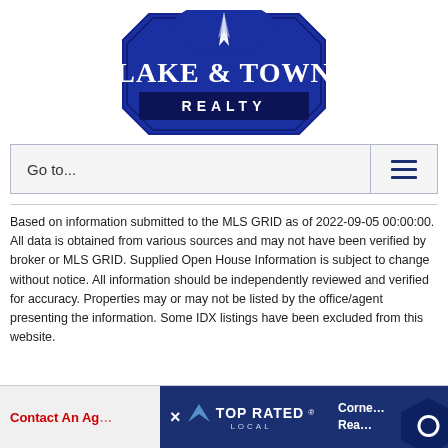[Figure (logo): Lake & Town Realty logo — blue shield/arch shape with white text 'LAKE & TOWN' large and 'REALTY' below in a dark banner, with a white compass/arrow graphic at top]
Go to...
Based on information submitted to the MLS GRID as of 2022-09-05 00:00:00. All data is obtained from various sources and may not have been verified by broker or MLS GRID. Supplied Open House Information is subject to change without notice. All information should be independently reviewed and verified for accuracy. Properties may or may not be listed by the office/agent presenting the information. Some IDX listings have been excluded from this website.
Contact An Ag...
[Figure (logo): Top Rated Local badge logo in white on dark blue background]
Corne... Rea...